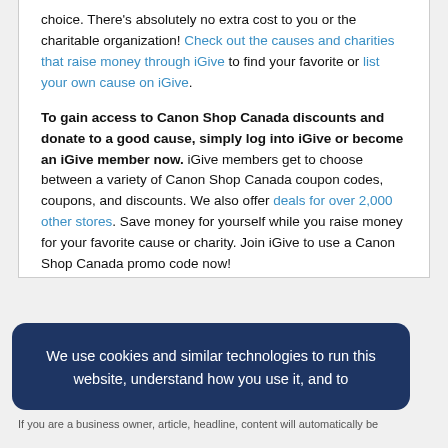choice. There's absolutely no extra cost to you or the charitable organization! Check out the causes and charities that raise money through iGive to find your favorite or list your own cause on iGive.
To gain access to Canon Shop Canada discounts and donate to a good cause, simply log into iGive or become an iGive member now. iGive members get to choose between a variety of Canon Shop Canada coupon codes, coupons, and discounts. We also offer deals for over 2,000 other stores. Save money for yourself while you raise money for your favorite cause or charity. Join iGive to use a Canon Shop Canada promo code now!
We use cookies and similar technologies to run this website, understand how you use it, and to